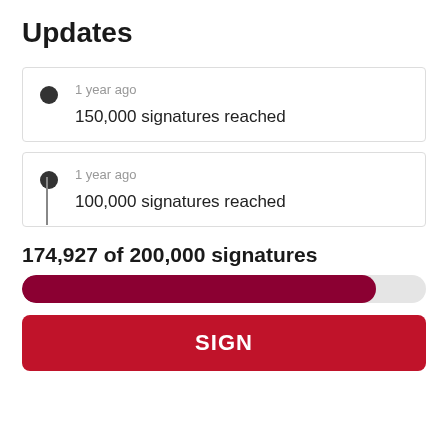Updates
1 year ago
150,000 signatures reached
1 year ago
100,000 signatures reached
174,927 of 200,000 signatures
[Figure (other): Progress bar showing 174,927 of 200,000 signatures, approximately 87.5% filled in dark red]
SIGN